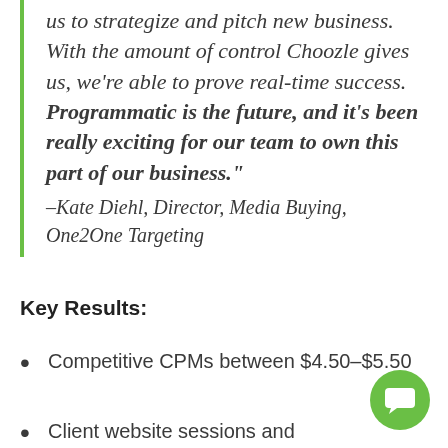us to strategize and pitch new business. With the amount of control Choozle gives us, we're able to prove real-time success. Programmatic is the future, and it's been really exciting for our team to own this part of our business." –Kate Diehl, Director, Media Buying, One2One Targeting
Key Results:
Competitive CPMs between $4.50–$5.50
Client website sessions and...